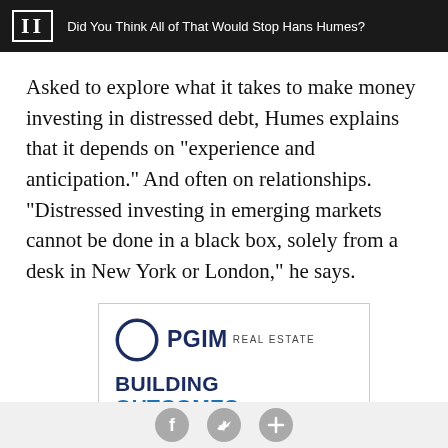II  Did You Think All of That Would Stop Hans Humes?
Asked to explore what it takes to make money investing in distressed debt, Humes explains that it depends on “experience and anticipation.” And often on relationships. “Distressed investing in emerging markets cannot be done in a black box, solely from a desk in New York or London,” he says.
[Figure (other): PGIM Real Estate advertisement with logo and tagline: BUILDING OUTCOMES GLOBALLY.]
Social share icons: Facebook, Twitter, Plus